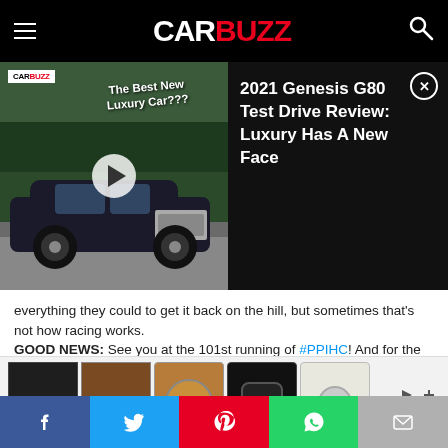CARBUZZ
[Figure (screenshot): Video thumbnail of 2021 Genesis G80 with text 'The Best New Luxury Car???' overlaid]
2021 Genesis G80 Test Drive Review: Luxury Has A New Face
everything they could to get it back on the hill, but sometimes that's not how racing works.
GOOD NEWS: See you at the 101st running of #PPIHC! And for the fans here, sorry the car won't be racing up the hill, but the car and I will be at Fan Fest at the @toyotires booth (with a @mobil1 poster) on Friday.
view all 532 comments
[Figure (screenshot): Advertisement banner showing leather accessories including bags, coin purses, AirPod cases, and keychain items]
[Figure (infographic): Social sharing bar with Facebook, Twitter, Pinterest, WhatsApp, and Email buttons]